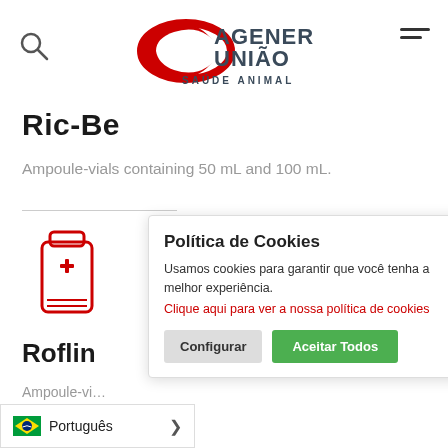[Figure (logo): Agener União Saúde Animal logo with red swoosh graphic and dark gray text]
Ric-Be
Ampoule-vials containing 50 mL and 100 mL.
[Figure (illustration): Red medicine tube/ampoule icon with a cross symbol]
Roflin
Ampoule-vi...
Política de Cookies
Usamos cookies para garantir que você tenha a melhor experiência. Clique aqui para ver a nossa política de cookies
Configurar
Aceitar Todos
Português >